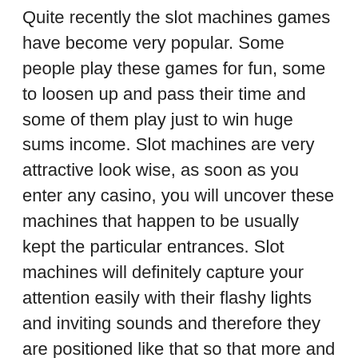Quite recently the slot machines games have become very popular. Some people play these games for fun, some to loosen up and pass their time and some of them play just to win huge sums income. Slot machines are very attractive look wise, as soon as you enter any casino, you will uncover these machines that happen to be usually kept the particular entrances. Slot machines will definitely capture your attention easily with their flashy lights and inviting sounds and therefore they are positioned like that so that more and the task get lured to the telltale slot machines.
Tomb Raider – Secret of the Sword: Boasting a massive 30 pay-lines, this 5 reel bonus slot online machine will get your heart race. If you liked the original Tomb Raider slot machine then join Lara Croft and go through the ultimate in realistic video